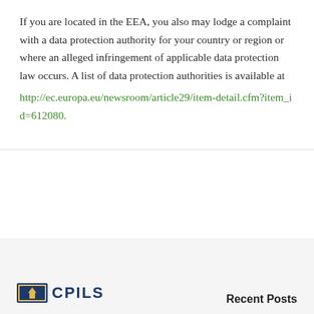If you are located in the EEA, you also may lodge a complaint with a data protection authority for your country or region or where an alleged infringement of applicable data protection law occurs. A list of data protection authorities is available at http://ec.europa.eu/newsroom/article29/item-detail.cfm?item_id=612080.
[Figure (logo): CPILS logo with icon and text 'CPILS' in bold blue letters]
Recent Posts